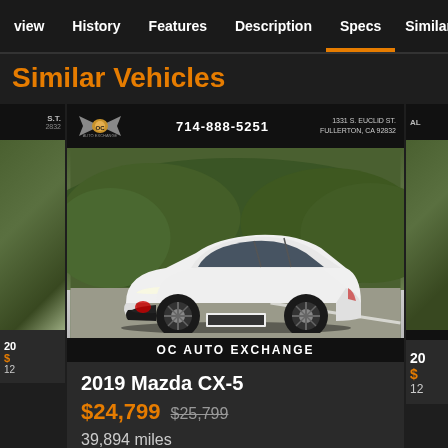view  History  Features  Description  Specs  Similar
Similar Vehicles
[Figure (photo): White 2019 Mazda CX-5 SUV parked in front of green hedge shrubbery. Dealer banner at top shows OC Auto Exchange logo, phone 714-888-5251, address 1331 S. Euclid St. Fullerton, CA 92832. Bottom bar reads OC AUTO EXCHANGE.]
2019 Mazda CX-5
$24,799  $25,799
39,894 miles